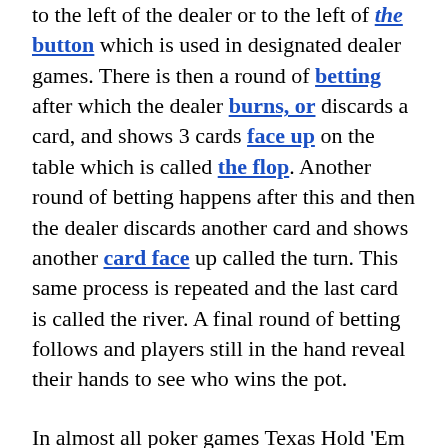to the left of the dealer or to the left of the button which is used in designated dealer games. There is then a round of betting after which the dealer burns, or discards a card, and shows 3 cards face up on the table which is called the flop. Another round of betting happens after this and then the dealer discards another card and shows another card face up called the turn. This same process is repeated and the last card is called the river. A final round of betting follows and players still in the hand reveal their hands to see who wins the pot.
In almost all poker games Texas Hold 'Em has a system of how to play your hand. During the betting periods a person can fold, or give up, their hand; they can call, or equal the previous bet or